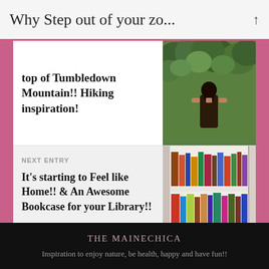Why Step out of your zo...
top of Tumbledown Mountain!! Hiking inspiration!
[Figure (photo): Person seen from behind looking at green forested landscape from mountain top]
NEXT ENTRY
It's starting to Feel like Home!! & An Awesome Bookcase for your Library!!
[Figure (photo): Bookcase filled with colorful books on white shelves]
THE MAINECHICA
Inspiration to enjoy nature, be health, happy and have fun!!